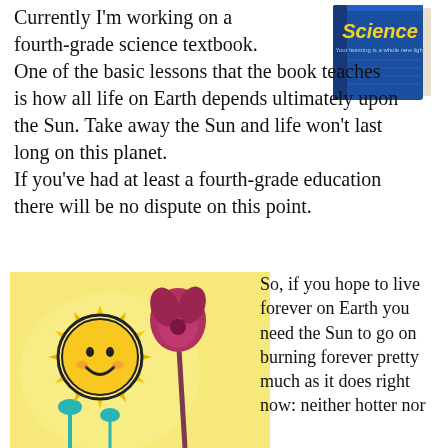[Figure (photo): A fourth-grade science textbook with blue cover and 'Science' title in yellow letters]
Currently I'm working on a fourth‑grade science textbook. One of the basic lessons that the book teaches is how all life on Earth depends ultimately upon the Sun. Take away the Sun and life won't last long on this planet. If you've had at least a fourth‑grade education there will be no dispute on this point.
[Figure (illustration): Colorful illustration with a smiling cartoon sun with yellow rays on a light yellow background, with pink/red flower plants and teal flowers]
So, if you hope to live forever on Earth you need the Sun to go on burning forever pretty much as it does right now: neither hotter nor